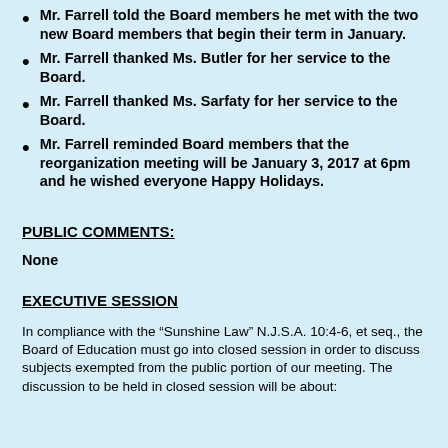Mr. Farrell told the Board members he met with the two new Board members that begin their term in January.
Mr. Farrell thanked Ms. Butler for her service to the Board.
Mr. Farrell thanked Ms. Sarfaty for her service to the Board.
Mr. Farrell reminded Board members that the reorganization meeting will be January 3, 2017 at 6pm and he wished everyone Happy Holidays.
PUBLIC COMMENTS:
None
EXECUTIVE SESSION
In compliance with the “Sunshine Law” N.J.S.A. 10:4-6, et seq., the Board of Education must go into closed session in order to discuss subjects exempted from the public portion of our meeting. The discussion to be held in closed session will be about: